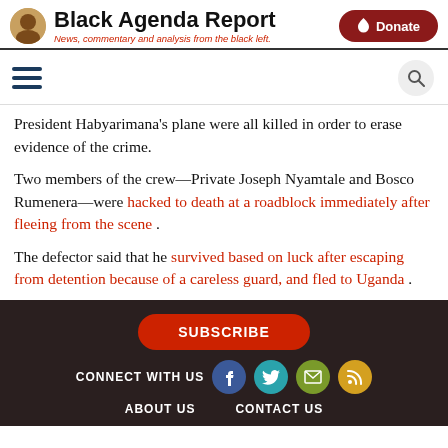Black Agenda Report — News, commentary and analysis from the black left.
President Habyarimana's plane were all killed in order to erase evidence of the crime.
Two members of the crew—Private Joseph Nyamtale and Bosco Rumenera—were hacked to death at a roadblock immediately after fleeing from the scene .
The defector said that he survived based on luck after escaping from detention because of a careless guard, and fled to Uganda .
SUBSCRIBE | CONNECT WITH US | ABOUT US | CONTACT US